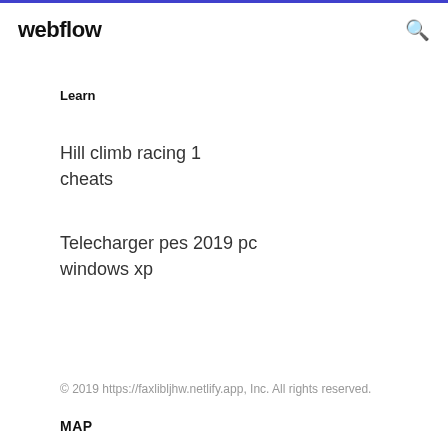webflow
Learn
Hill climb racing 1 cheats
Telecharger pes 2019 pc windows xp
© 2019 https://faxlibljhw.netlify.app, Inc. All rights reserved.
MAP